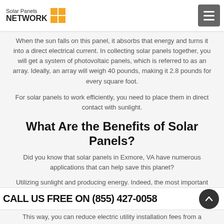Solar Panels NETWORK
When the sun falls on this panel, it absorbs that energy and turns it into a direct electrical current. In collecting solar panels together, you will get a system of photovoltaic panels, which is referred to as an array. Ideally, an array will weigh 40 pounds, making it 2.8 pounds for every square foot.
For solar panels to work efficiently, you need to place them in direct contact with sunlight.
What Are the Benefits of Solar Panels?
Did you know that solar panels in Exmore, VA have numerous applications that can help save this planet?
Utilizing sunlight and producing energy. Indeed, the most important benefit is having an off-grid livelihood.
It means that you will be living in homes that do not have the usual electricity utility services. Therefore, remote cabins would benefit from solar panels.
This way, you can reduce electric utility installation fees from a nearby...